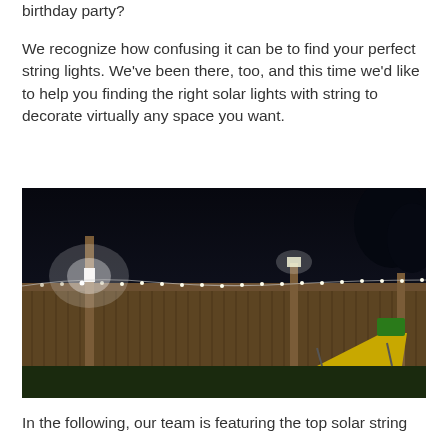birthday party?
We recognize how confusing it can be to find your perfect string lights. We've been there, too, and this time we'd like to help you finding the right solar lights with string to decorate virtually any space you want.
[Figure (photo): Nighttime photo of a wooden backyard fence with solar string lights strung along the top. Two bright solar post lights illuminate the fence. A children's yellow slide is visible in the lower right corner on a grass lawn.]
In the following, our team is featuring the top solar string